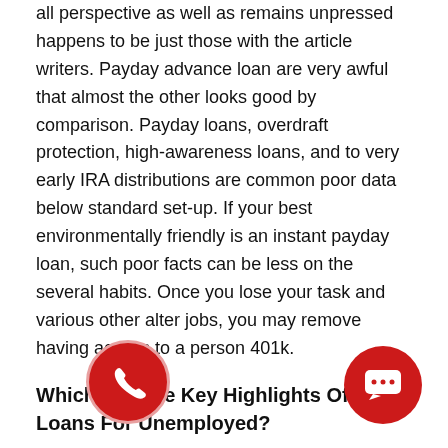all perspective as well as remains unpressed happens to be just those with the article writers. Payday advance loan are very awful that almost the other looks good by comparison. Payday loans, overdraft protection, high-awareness loans, and to very early IRA distributions are common poor data below standard set-up. If your best environmentally friendly is an instant payday loan, such poor facts can be less on the several habits. Once you lose your task and various other alter jobs, you may remove having access to a person 401k.
Which Are The Key Highlights Of Quick Loans For Unemployed?
Money likewise allow buyer it's easy to consolidate various credit card credit into the an individual payment plan right at the a lower status. Cash loans apps tend to be complete to a good on the internet application to make include we secrecy. This type of system employs the